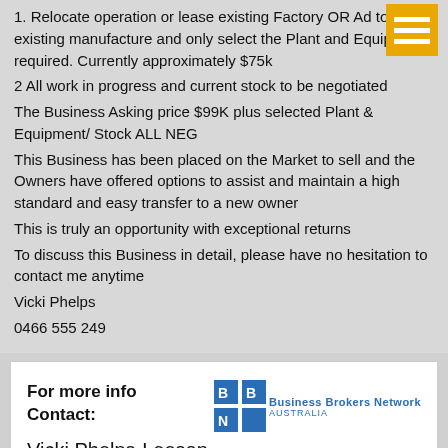1. Relocate operation or lease existing Factory OR Ad to an existing manufacture and only select the Plant and Equipment required. Currently approximately $75k
2 All work in progress and current stock to be negotiated
The Business Asking price $99K plus selected Plant & Equipment/ Stock ALL NEG
This Business has been placed on the Market to sell and the Owners have offered options to assist and maintain a high standard and easy transfer to a new owner
This is truly an opportunity with exceptional returns
To discuss this Business in detail, please have no hesitation to contact me anytime
Vicki Phelps
0466 555 249
For more info
Contact:
Vicki Phelps-Leeson
[Figure (logo): Business Brokers Network Australia logo with blue squares grid and text]